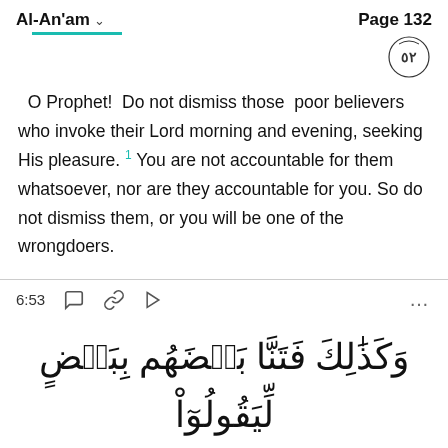Al-An'am   Page 132
O Prophet!  Do not dismiss those  poor believers who invoke their Lord morning and evening, seeking His pleasure.¹ You are not accountable for them whatsoever, nor are they accountable for you. So do not dismiss them, or you will be one of the wrongdoers.
6:53
[Figure (other): Arabic text: وَكَذَٰلِكَ فَتَنَّا بَعْضَهُم بِبَعْضٍ لِّيَقُولُوٓاْ]